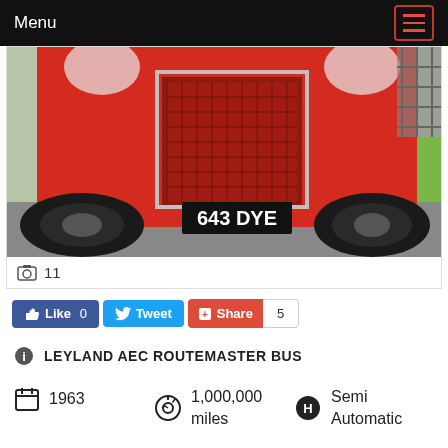Menu
[Figure (photo): Front view of a red Leyland AEC Routemaster double-decker bus with registration plate '643 DYE', photographed low from the ground showing the front grille, wheels, and grass in background.]
11
Like 0   Tweet   Share   5
LEYLAND AEC ROUTEMASTER BUS
1963
1,000,000 miles
Semi Automatic